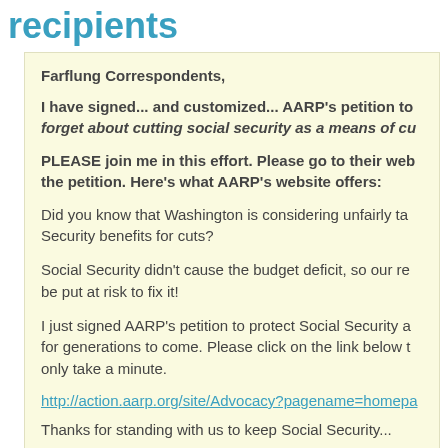recipients
Farflung Correspondents,
I have signed... and customized... AARP's petition to forget about cutting social security as a means of cu...
PLEASE join me in this effort. Please go to their web... the petition. Here's what AARP's website offers:
Did you know that Washington is considering unfairly ta... Security benefits for cuts?
Social Security didn't cause the budget deficit, so our re... be put at risk to fix it!
I just signed AARP's petition to protect Social Security a... for generations to come. Please click on the link below t... only take a minute.
http://action.aarp.org/site/Advocacy?pagename=homepa...
Thanks for standing with us to keep Social Security...